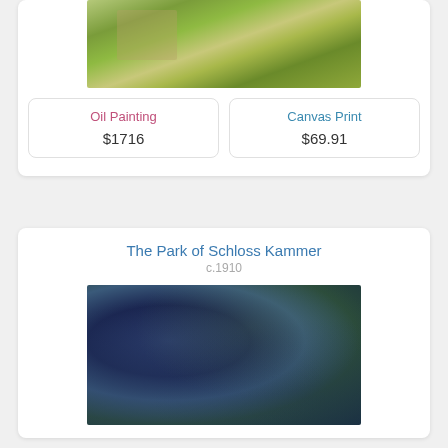[Figure (photo): Top portion of a painting showing a garden scene with green foliage and flowers]
Oil Painting
$1716
Canvas Print
$69.91
The Park of Schloss Kammer
c.1910
[Figure (photo): Bottom painting showing The Park of Schloss Kammer, c.1910, dark blue-green tones of trees and park scenery]